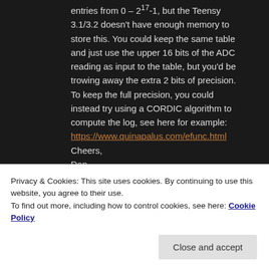entries from 0 – 2^17-1, but the Teensy 3.1/3.2 doesn't have enough memory to store this. You could keep the same table and just use the upper 16 bits of the ADC reading as input to the table, but you'd be trowing away the extra 2 bits of precision. To keep the full precision, you could instead try using a CORDIC algorithm to compute the log, see here for example: https://www.quinapalus.com/efunc.html
Cheers,
Dan
Like
Privacy & Cookies: This site uses cookies. By continuing to use this website, you agree to their use.
To find out more, including how to control cookies, see here: Cookie Policy